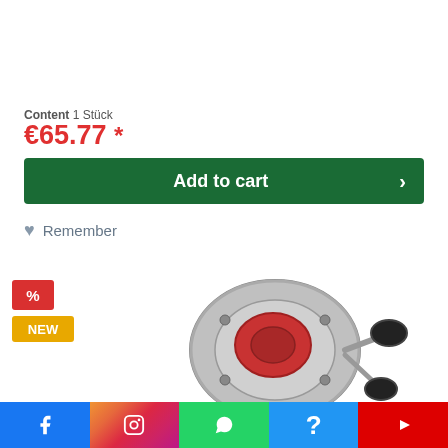Content 1 Stück
€65.77 *
Add to cart
Remember
[Figure (other): Red percent badge and yellow NEW badge]
[Figure (photo): Silver and red baitcasting fishing reel product photo]
Facebook | Instagram | WhatsApp | Help | YouTube